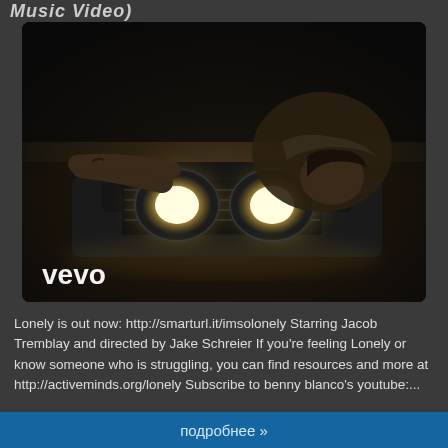Music Video)
[Figure (photo): Vevo music video thumbnail showing a person leaning over the front of a car with headlights illuminated, with 'vevo' logo in bottom left corner]
Lonely is out now: http://smarturl.it/imsolonely Starring Jacob Tremblay and directed by Jake Schreier If you're feeling Lonely or know someone who is struggling, you can find resources and more at http://activeminds.org/lonely Subscribe to benny blanco's youtube:...
подробнее »